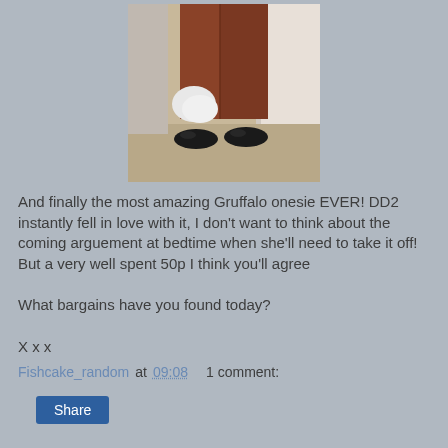[Figure (photo): Lower half of a person wearing a brown Gruffalo onesie with a white fluffy tail, standing in a doorway with black shoes on a carpeted floor.]
And finally the most amazing Gruffalo onesie EVER! DD2 instantly fell in love with it, I don't want to think about the coming arguement at bedtime when she'll need to take it off! But a very well spent 50p I think you'll agree

What bargains have you found today?

X x x
Fishcake_random at 09:08    1 comment:
Share